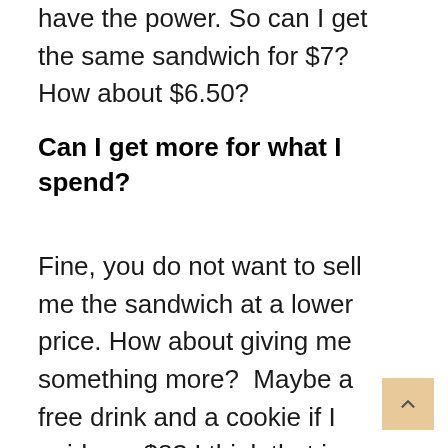have the power. So can I get the same sandwich for $7?  How about $6.50?
Can I get more for what I spend?
Fine, you do not want to sell me the sandwich at a lower price. How about giving me something more?  Maybe a free drink and a cookie if I paid you $8? I think that is fair.